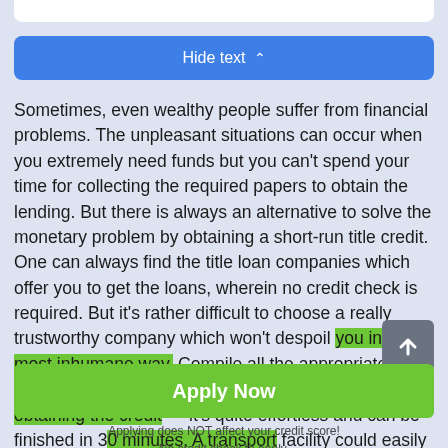[Figure (screenshot): Top white bar partially visible at top of page]
[Figure (screenshot): Blue 'Hide text' button with upward chevron]
Sometimes, even wealthy people suffer from financial problems. The unpleasant situations can occur when you extremely need funds but you can't spend your time for collecting the required papers to obtain the lending. But there is always an alternative to solve the monetary problem by obtaining a short-run title credit. One can always find the title loan companies which offer you to get the loans, wherein no credit check is required. But it's rather difficult to choose a really trustworthy company which won't despoil you in the most inhumane way. Compile all the appropriate data before getting a title loan. As for the procedure of obtaining the credit — it's quite effortless and can be finished in 30 minutes. A transport facility could easily be harnessed to serve as collateral, which is intended
[Figure (screenshot): Green 'Apply Now' button with subtext 'Applying does NOT affect your credit score! No credit check to apply.']